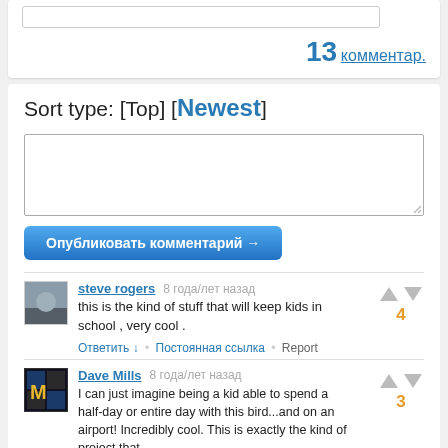13 комментар.
Sort type: [Top] [Newest]
[Figure (other): Comment text input box]
Опубликовать комментарий →
steve rogers  8 года/лет назад  this is the kind of stuff that will keep kids in school , very cool .  Ответить ↓ • Постоянная ссылка • Report  vote: 4
Dave Mills  8 года/лет назад  I can just imagine being a kid able to spend a half-day or entire day with this bird...and on an airport! Incredibly cool. This is exactly the kind of project that will likely inspire more than one kid to go into aviation. I wish Steve Horvitz and his supporters the very best of luck in this  vote: 3